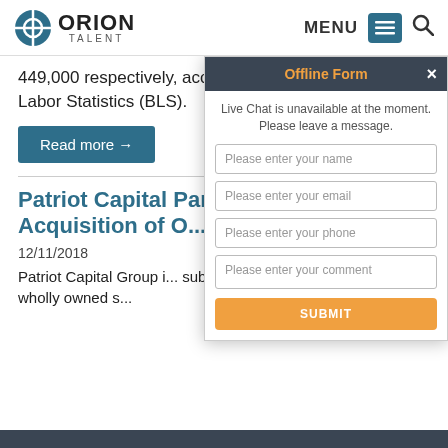ORION TALENT | MENU
449,000 respectively, according to U.S. Bureau of Labor Statistics (BLS).
Read more →
Patriot Capital Partners and La... Acquisition of O...
12/11/2018
Patriot Capital Group i... subordinated debt ano... and its wholly owned s...
[Figure (screenshot): Offline Form chat widget overlay with fields for name, email, phone, comment and a SUBMIT button]